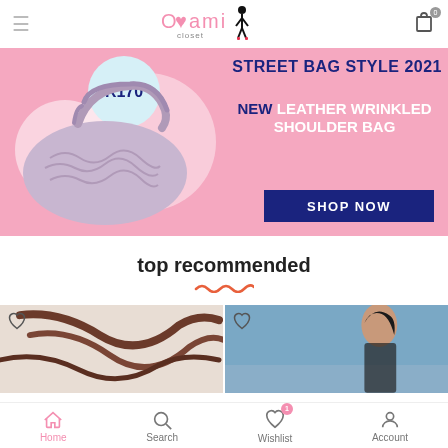[Figure (logo): Oilami closet fashion brand logo with female silhouette icon and pink outlined text]
[Figure (infographic): Pink banner advertisement for Street Bag Style 2021 featuring a lavender leather wrinkled shoulder bag priced at R170 with a SHOP NOW button]
top recommended
[Figure (photo): Product photo showing brown leather bag straps on white background with heart icon]
[Figure (photo): Product photo showing woman with dark hair against blue sky background with heart icon]
Home   Search   Wishlist   Account